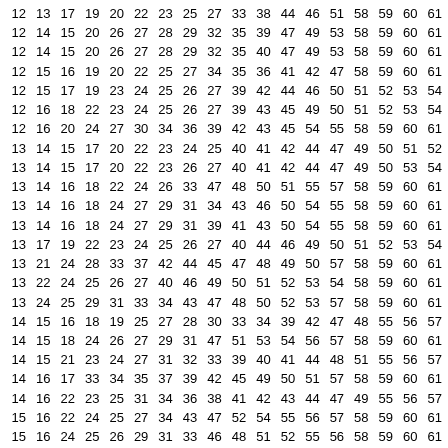| 12 | 13 | 17 | 19 | 20 | 22 | 23 | 25 | 27 | 33 | 38 | 44 | 46 | 51 | 58 | 59 | 60 | 61 |
| 12 | 14 | 15 | 20 | 26 | 27 | 28 | 29 | 32 | 35 | 39 | 47 | 49 | 53 | 58 | 59 | 60 | 61 |
| 12 | 14 | 15 | 20 | 26 | 27 | 28 | 29 | 32 | 35 | 40 | 47 | 49 | 53 | 58 | 59 | 60 | 61 |
| 12 | 15 | 16 | 19 | 20 | 22 | 25 | 27 | 34 | 35 | 36 | 41 | 42 | 47 | 58 | 59 | 60 | 61 |
| 12 | 15 | 17 | 19 | 23 | 24 | 25 | 26 | 27 | 39 | 42 | 44 | 46 | 50 | 51 | 52 | 53 | 54 |
| 12 | 16 | 18 | 22 | 23 | 24 | 25 | 26 | 27 | 39 | 43 | 45 | 49 | 50 | 51 | 52 | 53 | 54 |
| 12 | 16 | 20 | 24 | 27 | 30 | 34 | 36 | 39 | 42 | 43 | 45 | 54 | 55 | 58 | 59 | 60 | 61 |
| 13 | 14 | 15 | 17 | 20 | 22 | 23 | 24 | 25 | 40 | 41 | 42 | 44 | 47 | 49 | 50 | 51 | 52 |
| 13 | 14 | 15 | 17 | 20 | 22 | 23 | 26 | 27 | 40 | 41 | 42 | 44 | 47 | 49 | 50 | 53 | 54 |
| 13 | 14 | 16 | 18 | 22 | 24 | 26 | 33 | 47 | 48 | 50 | 51 | 55 | 57 | 58 | 59 | 60 | 61 |
| 13 | 14 | 16 | 18 | 24 | 27 | 29 | 31 | 34 | 43 | 46 | 50 | 54 | 55 | 58 | 59 | 60 | 61 |
| 13 | 14 | 16 | 18 | 24 | 27 | 29 | 31 | 39 | 41 | 43 | 50 | 54 | 55 | 58 | 59 | 60 | 61 |
| 13 | 17 | 19 | 22 | 23 | 24 | 25 | 26 | 27 | 40 | 44 | 46 | 49 | 50 | 51 | 52 | 53 | 54 |
| 13 | 21 | 24 | 28 | 33 | 37 | 42 | 44 | 45 | 47 | 48 | 49 | 50 | 57 | 58 | 59 | 60 | 61 |
| 13 | 22 | 24 | 25 | 26 | 27 | 40 | 46 | 49 | 50 | 51 | 52 | 53 | 54 | 58 | 59 | 60 | 61 |
| 13 | 24 | 25 | 29 | 31 | 33 | 34 | 43 | 47 | 48 | 50 | 52 | 53 | 57 | 58 | 59 | 60 | 61 |
| 14 | 15 | 16 | 18 | 19 | 25 | 27 | 28 | 30 | 33 | 34 | 39 | 42 | 47 | 48 | 55 | 56 | 57 |
| 14 | 15 | 18 | 24 | 26 | 27 | 29 | 31 | 47 | 51 | 53 | 54 | 56 | 57 | 58 | 59 | 60 | 61 |
| 14 | 15 | 21 | 23 | 24 | 27 | 31 | 32 | 33 | 39 | 40 | 41 | 44 | 48 | 51 | 55 | 56 | 57 |
| 14 | 16 | 17 | 33 | 34 | 35 | 37 | 39 | 42 | 45 | 49 | 50 | 51 | 57 | 58 | 59 | 60 | 61 |
| 14 | 16 | 22 | 23 | 25 | 31 | 34 | 36 | 38 | 41 | 42 | 43 | 44 | 47 | 49 | 55 | 56 | 57 |
| 15 | 16 | 22 | 24 | 25 | 27 | 34 | 43 | 47 | 52 | 54 | 55 | 56 | 57 | 58 | 59 | 60 | 61 |
| 15 | 16 | 24 | 25 | 26 | 29 | 31 | 33 | 46 | 48 | 51 | 52 | 55 | 56 | 58 | 59 | 60 | 61 |
| 16 | 18 | 21 | 22 | 23 | 28 | 33 | 36 | 38 | 39 | 41 | 43 | 53 | 56 | 58 | 59 | 60 | 61 |
| 16 | 18 | 22 | 24 | 25 | 27 | 30 | 31 | 32 | 34 | 37 | 40 | 44 | 46 | 54 | 55 | 56 | 57 |
| 16 | 18 | 22 | 24 | 25 | 30 | 31 | 32 | 34 | 37 | 40 | 44 | 46 | 47 | 54 | 55 | 56 | 57 |
| 17 | 18 | 21 | 22 | 26 | 28 | 33 | 35 | 39 | 42 | 44 | 50 | 55 | 57 | 58 | 59 | 60 | 61 |
| 17 | 18 | 27 | 28 | 30 | 31 | 32 | 36 | 38 | 39 | 42 | 43 | 50 | 55 | 58 | 59 | 60 | 61 |
| 18 | 23 | 26 | 27 | 28 | 30 | 31 | 32 | 35 | 41 | 44 | 53 | 56 | 57 | 58 | 59 | 60 | 61 |